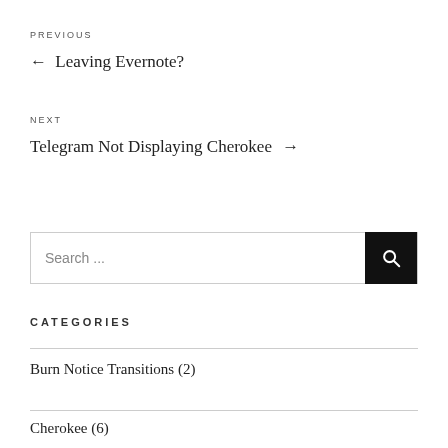PREVIOUS
← Leaving Evernote?
NEXT
Telegram Not Displaying Cherokee →
Search ...
CATEGORIES
Burn Notice Transitions (2)
Cherokee (6)